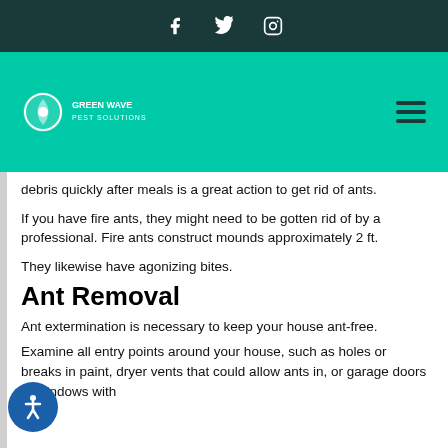Social media icons: Facebook, Twitter, Instagram
[Figure (logo): Green Wave Pest Solutions logo with navigation bar on teal background]
debris quickly after meals is a great action to get rid of ants.
If you have fire ants, they might need to be gotten rid of by a professional. Fire ants construct mounds approximately 2 ft.
They likewise have agonizing bites.
Ant Removal
Ant extermination is necessary to keep your house ant-free.
Examine all entry points around your house, such as holes or breaks in paint, dryer vents that could allow ants in, or garage doors or windows with...